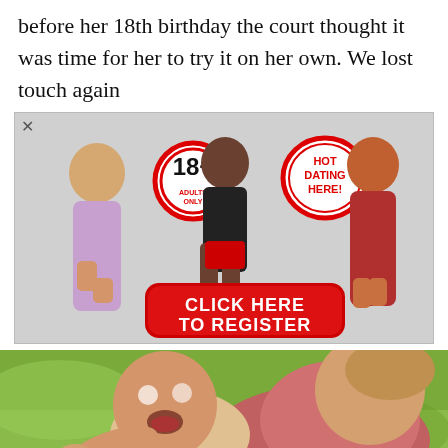before her 18th birthday the court thought it was time for her to try it on her own. We lost touch again
[Figure (infographic): Adult dating advertisement banner with '18+ Adults Only' badge, 'HOT DATING HERE!' badge, three figures, and a red 'CLICK HERE TO REGISTER' button]
[Figure (photo): Close-up photo of an adult holding a baby outdoors on grass]